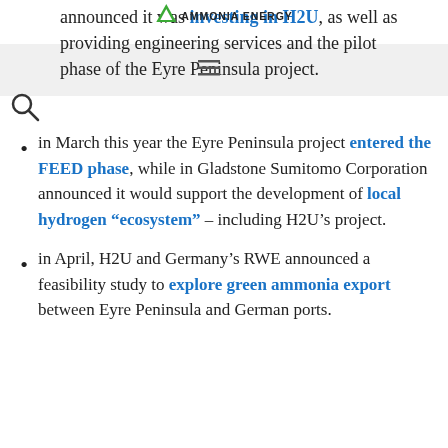AMMONIA ENERGY
announced it was investing in H2U, as well as providing engineering services and the pilot phase of the Eyre Peninsula project.
in March this year the Eyre Peninsula project entered the FEED phase, while in Gladstone Sumitomo Corporation announced it would support the development of local hydrogen “ecosystem” – including H2U’s project.
in April, H2U and Germany’s RWE announced a feasibility study to explore green ammonia export between Eyre Peninsula and German ports.